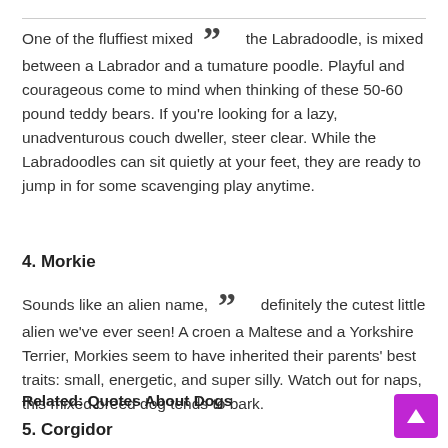One of the fluffiest mixed [quote] the Labradoodle, is mixed between a Labrador and a tu[rnip-][m]ature poodle. Playful and courageous come to mind when thinking of these 50-60 pound teddy bears. If you’re looking for a lazy, unadventurous couch dweller, steer clear. While the Labradoodles can sit quietly at your feet, they are ready to jump in for some scavenging play anytime.
4. Morkie
Sounds like an alien name, [quote] definitely the cutest little alien we’ve ever seen! A cro[ss betw]een a Maltese and a Yorkshire Terrier, Morkies seem to have inherited their parents’ best traits: small, energetic, and super silly. Watch out for naps, this mixed breed dog tends to bark.
Related: Quotes About Dogs
5. Corgidor